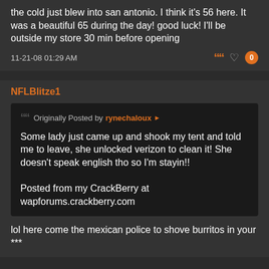the cold just blew into san antonio. I think it's 56 here. It was a beautiful 65 during the day! good luck! I'll be outside my store 30 min before opening
11-21-08 01:29 AM
NFLBlitze1
Originally Posted by rynechaloux
Some lady just came up and shook my tent and told me to leave, she unlocked verizon to clean it! She doesn't speak english tho so I'm stayin!!

Posted from my CrackBerry at wapforums.crackberry.com
lol here come the mexican police to shove burritos in your ***